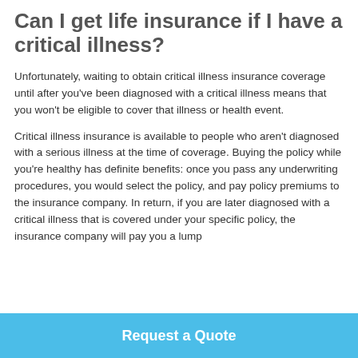Can I get life insurance if I have a critical illness?
Unfortunately, waiting to obtain critical illness insurance coverage until after you've been diagnosed with a critical illness means that you won't be eligible to cover that illness or health event.
Critical illness insurance is available to people who aren't diagnosed with a serious illness at the time of coverage. Buying the policy while you're healthy has definite benefits: once you pass any underwriting procedures, you would select the policy, and pay policy premiums to the insurance company. In return, if you are later diagnosed with a critical illness that is covered under your specific policy, the insurance company will pay you a lump
Request a Quote